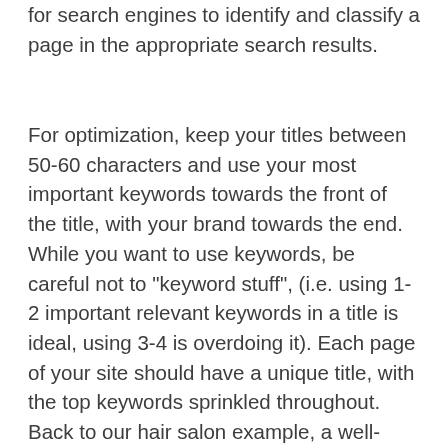for search engines to identify and classify a page in the appropriate search results.
For optimization, keep your titles between 50-60 characters and use your most important keywords towards the front of the title, with your brand towards the end. While you want to use keywords, be careful not to "keyword stuff", (i.e. using 1-2 important relevant keywords in a title is ideal, using 3-4 is overdoing it). Each page of your site should have a unique title, with the top keywords sprinkled throughout. Back to our hair salon example, a well-structured title tag might be: